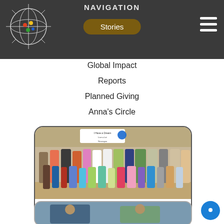NAVIGATION
Stories
Global Impact
Reports
Planned Giving
Anna's Circle
[Figure (photo): Group photo of adults and children gathered under a tent structure, with a banner/sign visible in the background]
DONATE
[Figure (photo): Partial view of a second photo showing people, partially cut off at bottom of page]